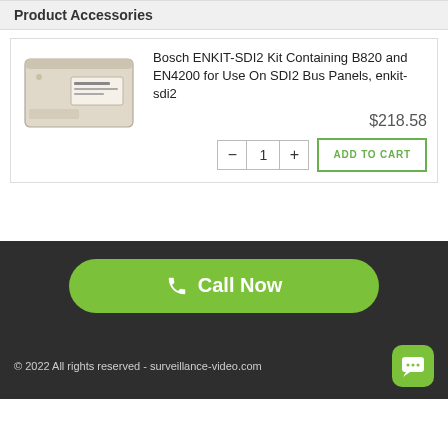Product Accessories
[Figure (photo): Bosch ENKIT-SDI2 security panel device, beige/cream colored rectangular box with a small label area on the front]
Bosch ENKIT-SDI2 Kit Containing B820 and EN4200 for Use On SDI2 Bus Panels, enkit-sdi2
$218.58
- 1 + ADD TO CART
Call Now
© 2022 All rights reserved - surveillance-video.com